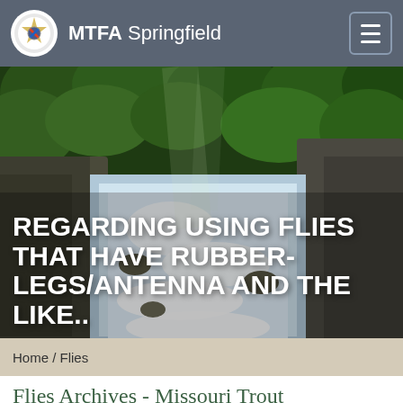MTFA Springfield
[Figure (photo): A rushing waterfall or stream flowing through a lush green forest with rocks and dense green foliage, used as a hero background image.]
REGARDING USING FLIES THAT HAVE RUBBER-LEGS/ANTENNA AND THE LIKE..
Home / Flies
Flies Archives - Missouri Trout